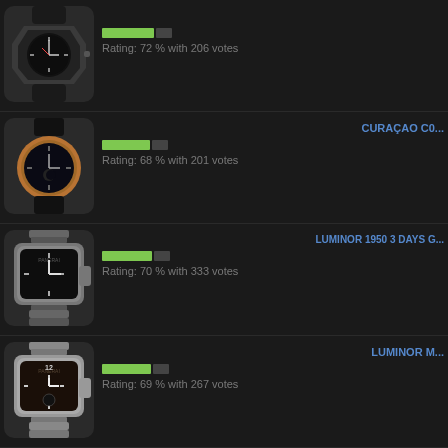[Figure (photo): Dark sport watch with octagonal case and rubber strap]
Rating: 72 % with 206 votes
[Figure (photo): CURACAO watch with rose gold case and black dial]
CURACAO C0...
Rating: 68 % with 201 votes
[Figure (photo): LUMINOR 1950 3 DAYS GMT watch with steel bracelet]
LUMINOR 1950 3 DAYS G...
Rating: 70 % with 333 votes
[Figure (photo): LUMINOR Marina watch with steel bracelet and brown/black dial]
LUMINOR M...
Rating: 69 % with 267 votes